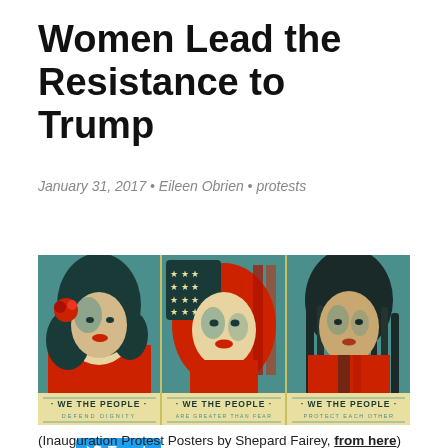Women Lead the Resistance to Trump
January 31, 2017 • Eileen Obrien • protests
[Figure (illustration): Three 'We The People' inauguration protest posters by Shepard Fairey showing three women — one with a flower, one in an American flag hijab, one with dreadlocks. Each panel reads 'WE THE PEOPLE' with subtitles: 'DEFEND DIGNITY', 'ARE GREATER THAN FEAR', 'PROTECT EACH OTHER'.]
(Inauguration Protest Posters by Shepard Fairey, from here)
When my daughter and I joined the Women's March on